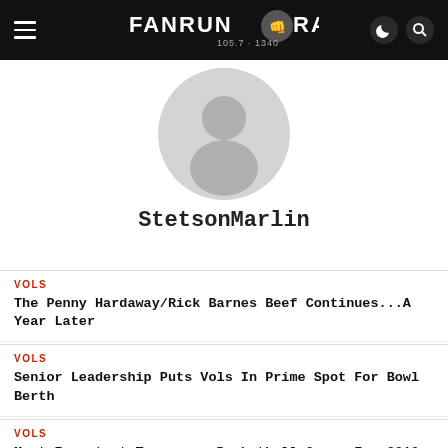FanRunRadio 105.7 - 1340
[Figure (illustration): Default user avatar placeholder — grey circle with silhouette of a person]
StetsonMarlin
VOLS
The Penny Hardaway/Rick Barnes Beef Continues...A Year Later
VOLS
Senior Leadership Puts Vols In Prime Spot For Bowl Berth
VOLS
Most Important Tennessee Basketball Games For 2019-20: